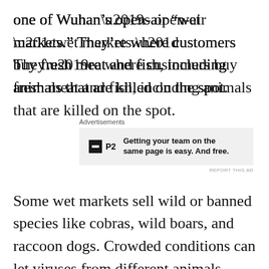one of Wuhan’s open-air “wet markets.” They’re where customers buy fresh meat and fish, including animals that are killed on the spot.
[Figure (other): Advertisement banner for P2 product: 'Getting your team on the same page is easy. And free.']
Some wet markets sell wild or banned species like cobras, wild boars, and raccoon dogs. Crowded conditions can let viruses from different animals swap genes.